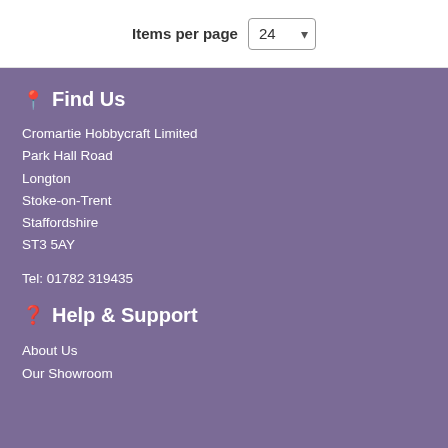Items per page  24
Find Us
Cromartie Hobbycraft Limited
Park Hall Road
Longton
Stoke-on-Trent
Staffordshire
ST3 5AY
Tel: 01782 319435
Help & Support
About Us
Our Showroom